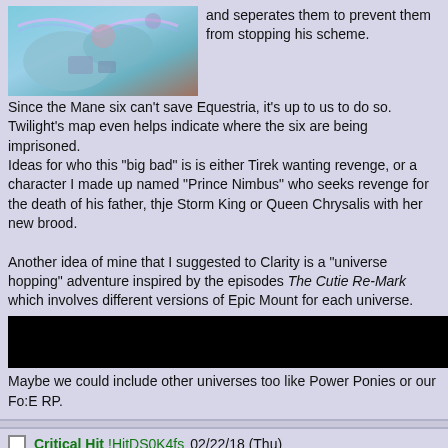[Figure (illustration): Fantasy illustration with colorful sky, islands, and rainbow elements]
and seperates them to prevent them from stopping his scheme.
Since the Mane six can't save Equestria, it's up to us to do so. Twilight's map even helps indicate where the six are being imprisoned.
Ideas for who this "big bad" is is either Tirek wanting revenge, or a character I made up named "Prince Nimbus" who seeks revenge for the death of his father, thje Storm King or Queen Chrysalis with her new brood.

Another idea of mine that I suggested to Clarity is a "universe hopping" adventure inspired by the episodes The Cutie Re-Mark which involves different versions of Epic Mount for each universe.
Maybe we could include other universes too like Power Ponies or our Fo:E RP.
[Figure (other): Redacted/blacked out bar]
Critical Hit!HitDS0K4fs 02/22/18 (Thu) 20:40:24 No.10759 >>10760
File (hide): 1519332023933.jpg (123.64 KB, 850x850, 1:1, toe.jpg) ImgOps Exif Google
[Figure (illustration): My Little Pony: Tails of Equestria logo with blue pony art]
Announcement
Quick Reply